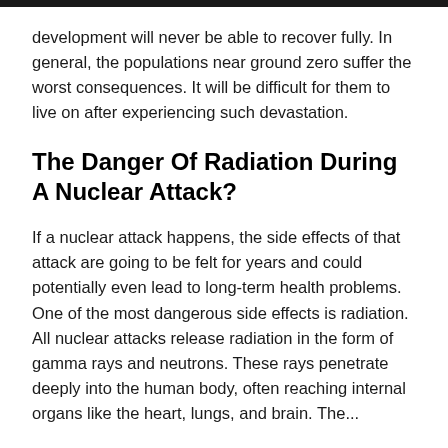development will never be able to recover fully. In general, the populations near ground zero suffer the worst consequences. It will be difficult for them to live on after experiencing such devastation.
The Danger Of Radiation During A Nuclear Attack?
If a nuclear attack happens, the side effects of that attack are going to be felt for years and could potentially even lead to long-term health problems. One of the most dangerous side effects is radiation. All nuclear attacks release radiation in the form of gamma rays and neutrons. These rays penetrate deeply into the human body, often reaching internal organs like the heart, lungs, and brain. The...